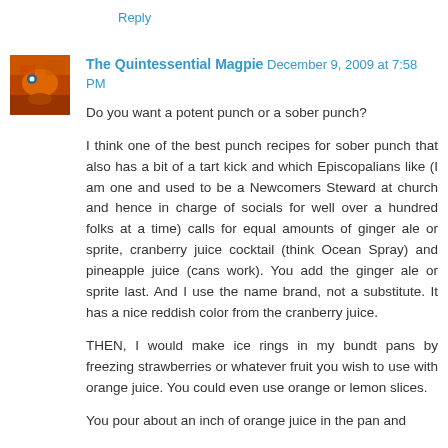Reply
The Quintessential Magpie  December 9, 2009 at 7:58 PM
Do you want a potent punch or a sober punch?
I think one of the best punch recipes for sober punch that also has a bit of a tart kick and which Episcopalians like (I am one and used to be a Newcomers Steward at church and hence in charge of socials for well over a hundred folks at a time) calls for equal amounts of ginger ale or sprite, cranberry juice cocktail (think Ocean Spray) and pineapple juice (cans work). You add the ginger ale or sprite last. And I use the name brand, not a substitute. It has a nice reddish color from the cranberry juice.
THEN, I would make ice rings in my bundt pans by freezing strawberries or whatever fruit you wish to use with orange juice. You could even use orange or lemon slices.
You pour about an inch of orange juice in the pan and